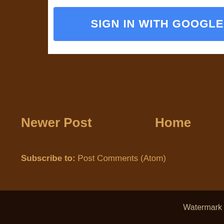[Figure (screenshot): Sign in with Google button (blue rectangular button with white text)]
Newer Post
Home
Subscribe to: Post Comments (Atom)
Watermark